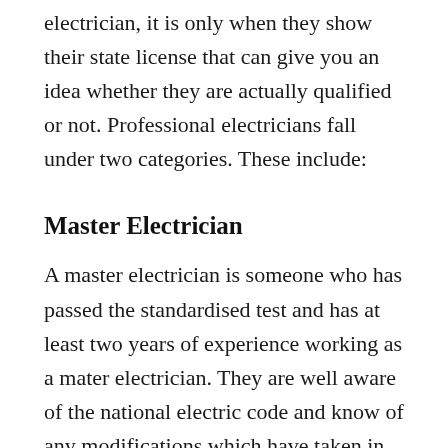electrician, it is only when they show their state license that can give you an idea whether they are actually qualified or not. Professional electricians fall under two categories. These include:
Master Electrician
A master electrician is someone who has passed the standardised test and has at least two years of experience working as a mater electrician. They are well aware of the national electric code and know of any modifications which have taken in the code. They have the ability to plan, design, install and maintain an electrical system for your home. If you are looking for someone to help lay down the